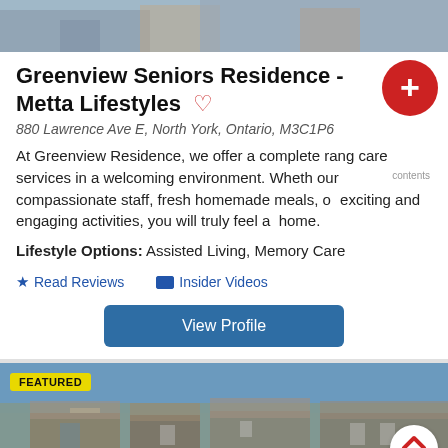[Figure (photo): Top banner photo of Greenview Seniors Residence exterior]
Greenview Seniors Residence - Metta Lifestyles
880 Lawrence Ave E, North York, Ontario, M3C1P6
At Greenview Residence, we offer a complete range of care services in a welcoming environment. Whether our compassionate staff, fresh homemade meals, or exciting and engaging activities, you will truly feel at home.
Lifestyle Options: Assisted Living, Memory Care
★ Read Reviews   🎬 Insider Videos
View Profile
[Figure (photo): Bottom banner photo of a senior living residence building exterior with FEATURED badge]